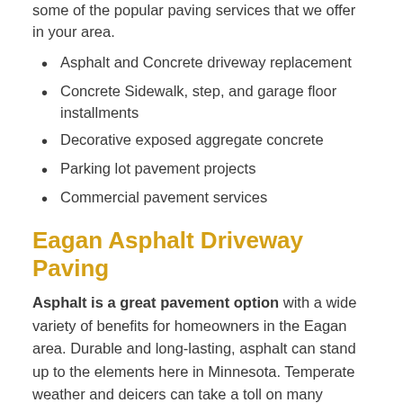some of the popular paving services that we offer in your area.
Asphalt and Concrete driveway replacement
Concrete Sidewalk, step, and garage floor installments
Decorative exposed aggregate concrete
Parking lot pavement projects
Commercial pavement services
Eagan Asphalt Driveway Paving
Asphalt is a great pavement option with a wide variety of benefits for homeowners in the Eagan area. Durable and long-lasting, asphalt can stand up to the elements here in Minnesota. Temperate weather and deicers can take a toll on many pavement materials, but asphalt holds its own and